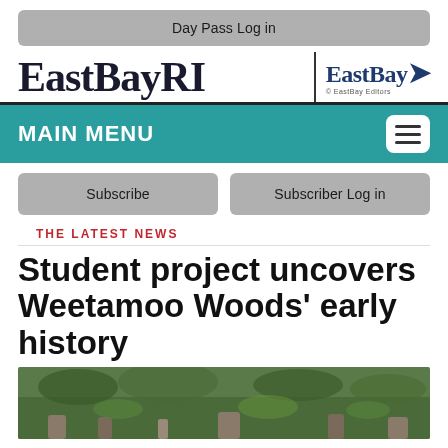Day Pass Log in
[Figure (logo): EastBayRI logo with EastBay secondary logo and bird icon]
MAIN MENU
Subscribe
Subscriber Log in
THE LATEST NEWS
Student project uncovers Weetamoo Woods' early history
[Figure (photo): Outdoor photo showing wooded area with rocks and vegetation]